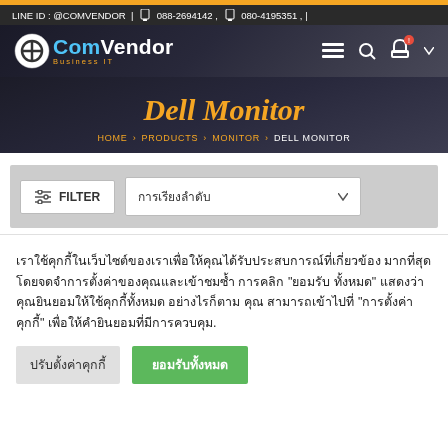LINE ID : @COMVENDOR | 088-2694142 , 080-4195351 ,
[Figure (logo): ComVendor Business IT logo with circular icon]
Dell Monitor
HOME > PRODUCTS > MONITOR > DELL MONITOR
FILTER | การเรียงลำดับ
เราใช้คุกกี้ในเว็บไซต์ของเราเพื่อให้คุณได้รับประสบการณ์ที่เกี่ยวข้องมากที่สุดโดยจดจำการตั้งค่าของคุณและเข้าชมซ้ำ การคลิก "ยอมรับทั้งหมด" แสดงว่าคุณยินยอมให้ใช้คุกกี้ทั้งหมด อย่างไรก็ตาม คุณสามารถเข้าไปที่ "การตั้งค่าคุกกี้" เพื่อให้คำยินยอมที่มีการควบคุม.
ปรับตั้งค่าคุกกี้
ยอมรับทั้งหมด